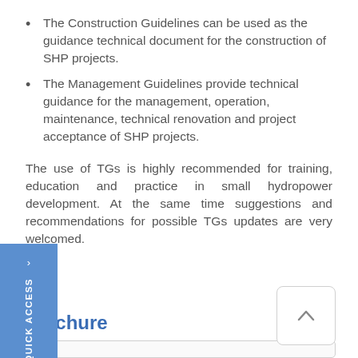The Construction Guidelines can be used as the guidance technical document for the construction of SHP projects.
The Management Guidelines provide technical guidance for the management, operation, maintenance, technical renovation and project acceptance of SHP projects.
The use of TGs is highly recommended for training, education and practice in small hydropower development. At the same time suggestions and recommendations for possible TGs updates are very welcomed.
Brochure